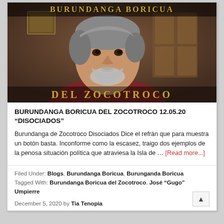[Figure (photo): Photo of an older man with gray hair and beard wearing a dark red/maroon shirt, with text overlay 'BURUNDANGA BORICUA' at top and 'DEL ZOCOTROCO' at bottom in gold/yellow stylized font. Background is warm brown/indoor setting.]
BURUNDANGA BORICUA DEL ZOCOTROCO 12.05.20 “DISOCIADOS”
Burundanga de Zocotroco Disociados Dice el refrán que para muestra un botón basta. Inconforme como la escasez, traigo dos ejemplos de la penosa situación política que atraviesa la Isla de … [Read more...]
Filed Under: Blogs, Burundanga Boricua, Burunganda Boricua
Tagged With: Burundanga Boricua del Zocotroco, José “Gugo” Umpierre
December 5, 2020 by Tia Tenopia